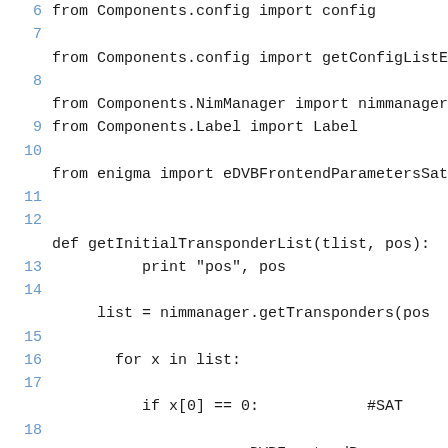[Figure (screenshot): Python source code listing showing lines 6-18 of a file. Lines include imports from Components.config, Components.NimManager, Components.Label, enigma, and a function definition getInitialTransponderList with print statement, list assignment, for loop, and if condition.]